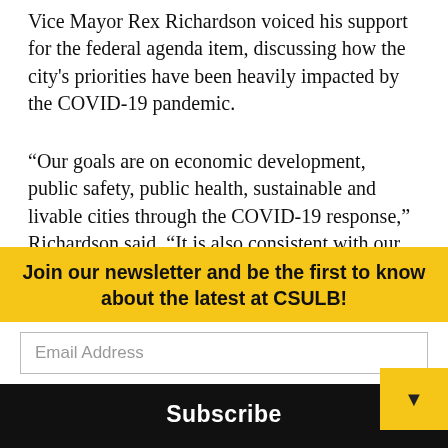Vice Mayor Rex Richardson voiced his support for the federal agenda item, discussing how the city's priorities have been heavily impacted by the COVID-19 pandemic.
“Our goals are on economic development, public safety, public health, sustainable and livable cities through the COVID-19 response,” Richardson said. “It is also consistent with our Racial Equity Reconciliation Initiative initial report, and I look forward to continuing to work with the committee to identify more resources for Long Beach.”
Join our newsletter and be the first to know about the latest at CSULB!
Email Address
Subscribe